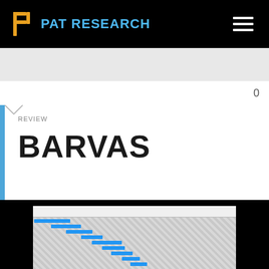PAT RESEARCH
0
REVIEW
BARVAS
[Figure (screenshot): Screenshot of BARVAS software showing a Gantt chart interface with multiple blue horizontal bars on a checkered/grid background, representing project timeline tasks.]